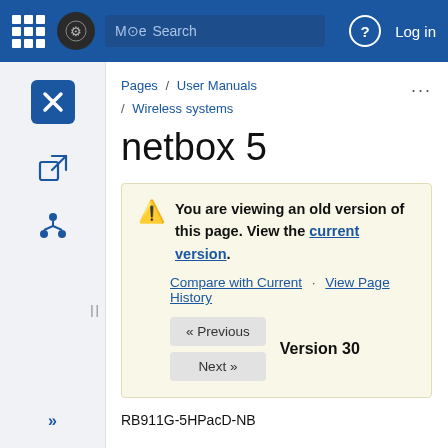More  Search  Log in
Pages / User Manuals / Wireless systems
netbox 5
You are viewing an old version of this page. View the current version.
Compare with Current · View Page History
« Previous  Version 30  Next »
RB911G-5HPacD-NB